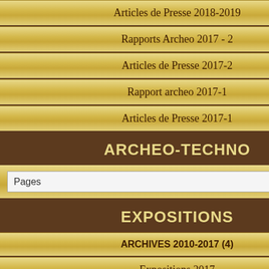Articles de Presse 2018-2019
Rapports Archeo 2017 - 2
Articles de Presse 2017-2
Rapport archeo 2017-1
Articles de Presse 2017-1
ARCHEO-TECHNO
Pages
EXPOSITIONS
ARCHIVES 2010-2017 (4)
Expositions 2017
INDEX DES SITES
Pages
-11 MAI :  "Netherlands...
* http://www... construction
-11 MAI :  "Le Patrimoін...
* http://ww...
-10 MAI : "Uncovering N... Nottingham)
* http://con... Nottinghams-hidden-medie...
-10 MAI : "Work begins...
* http://www...
- 9 MAI :  "Epave du Xe...